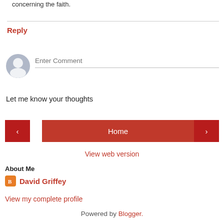concerning the faith.
Reply
[Figure (illustration): User avatar placeholder icon (grey circle with person silhouette)]
Enter Comment
Let me know your thoughts
< Home >
View web version
About Me
David Griffey
View my complete profile
Powered by Blogger.